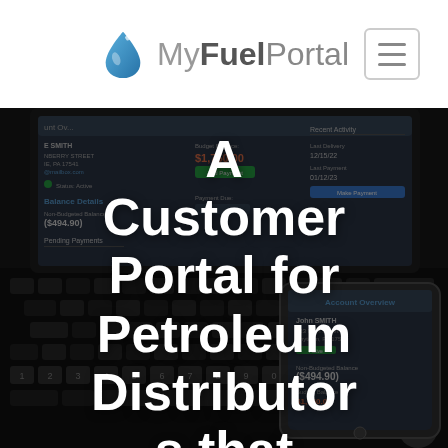[Figure (logo): MyFuelPortal logo with blue water drop icon and text]
[Figure (screenshot): Hero image showing a laptop and smartphone displaying the MyFuelPortal customer portal interface with account overview showing Balance Details, Budget Balance $1,750.00, Non-Budgeted Balance ($494.90), Pending Payments sections, and Recent Activity panel. Dark overlay with large centered white text overlay.]
A Customer Portal for Petroleum Distributors that looks great on